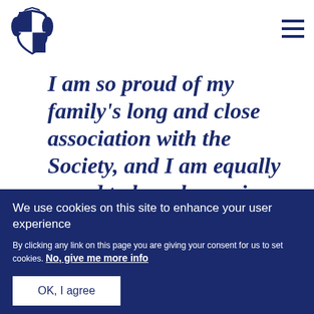[Figure (logo): UK Royal coat of arms / government crest in dark navy blue]
I am so proud of my family's long and close association with the Society, and I am equally proud to have been given
We use cookies on this site to enhance your user experience
By clicking any link on this page you are giving your consent for us to set cookies. No, give me more info
OK, I agree